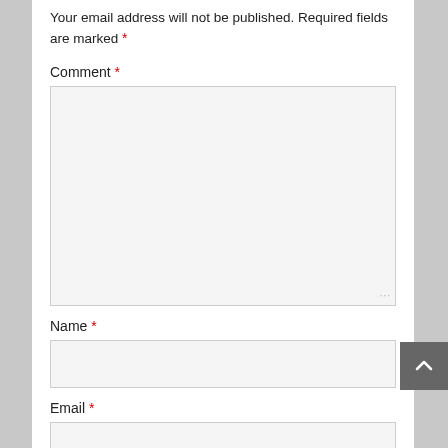Your email address will not be published. Required fields are marked *
Comment *
[Figure (screenshot): Comment text area input box (empty, light gray background)]
Name *
[Figure (screenshot): Name text input box (empty, light gray background)]
Email *
[Figure (screenshot): Email text input box (empty, light gray background, partially visible)]